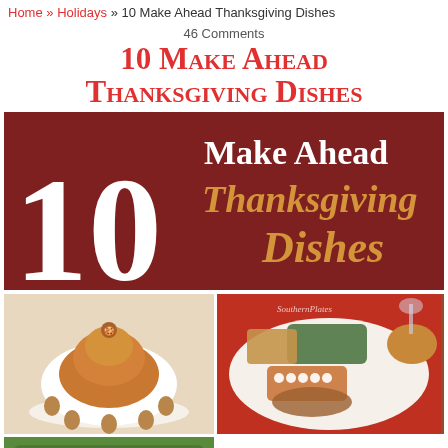Home » Holidays » 10 Make Ahead Thanksgiving Dishes
46 Comments
10 Make Ahead Thanksgiving Dishes
[Figure (illustration): Dark red banner image with large white number '10' on the left, white bold text 'Make Ahead' at top right, and orange italic text 'Thanksgiving Dishes' below, along with food photos at the bottom]
[Figure (photo): Photo of a sweet potato casserole or mousse mounded in a white dish, decorated with small gingerbread man cookies around the base on a white lace doily]
[Figure (photo): Southern Plates watermarked photo of a Thanksgiving plate with turkey, green bean casserole, stuffing, sweet potato casserole with marshmallows, and a dinner roll]